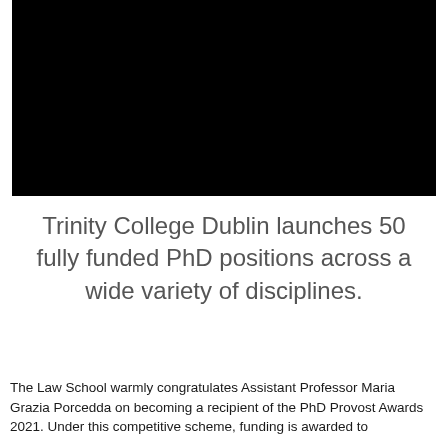[Figure (photo): A large black rectangular image, likely a photo or video thumbnail with no visible content (all black).]
Trinity College Dublin launches 50 fully funded PhD positions across a wide variety of disciplines.
The Law School warmly congratulates Assistant Professor Maria Grazia Porcedda on becoming a recipient of the PhD Provost Awards 2021. Under this competitive scheme, funding is awarded to